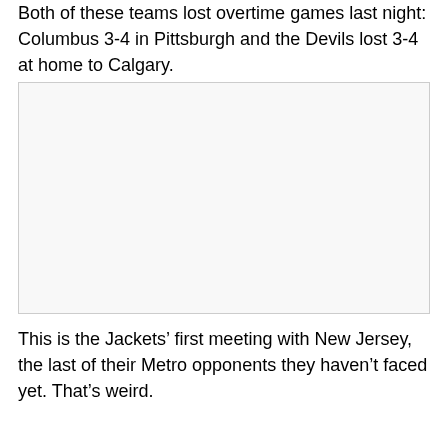Both of these teams lost overtime games last night: Columbus 3-4 in Pittsburgh and the Devils lost 3-4 at home to Calgary.
[Figure (photo): Image placeholder area (blank/light gray region)]
This is the Jackets’ first meeting with New Jersey, the last of their Metro opponents they haven’t faced yet. That’s weird.